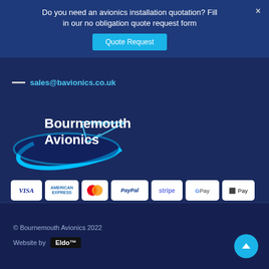Do you need an avionics installation quotation? Fill in our no obligation quote request form
Quote Request
sales@bavionics.co.uk
[Figure (logo): Bournemouth Avionics logo with paper plane graphic]
[Figure (infographic): Payment method icons: VISA, American Express, Mastercard, PayPal, Stripe, Google Pay, Apple Pay]
© Bournemouth Avionics 2022
Website by Eldo™